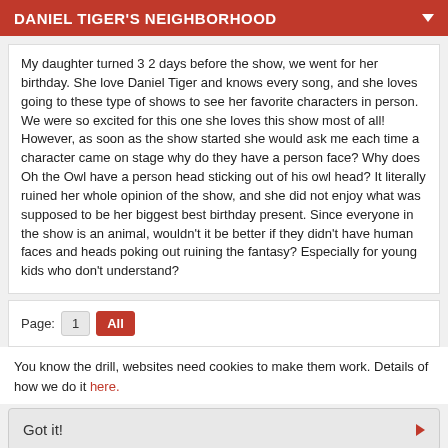DANIEL TIGER'S NEIGHBORHOOD
My daughter turned 3 2 days before the show, we went for her birthday. She love Daniel Tiger and knows every song, and she loves going to these type of shows to see her favorite characters in person. We were so excited for this one she loves this show most of all! However, as soon as the show started she would ask me each time a character came on stage why do they have a person face? Why does Oh the Owl have a person head sticking out of his owl head? It literally ruined her whole opinion of the show, and she did not enjoy what was supposed to be her biggest best birthday present. Since everyone in the show is an animal, wouldn't it be better if they didn't have human faces and heads poking out ruining the fantasy? Especially for young kids who don't understand?
Page: 1  All
You know the drill, websites need cookies to make them work. Details of how we do it here.
Got it!